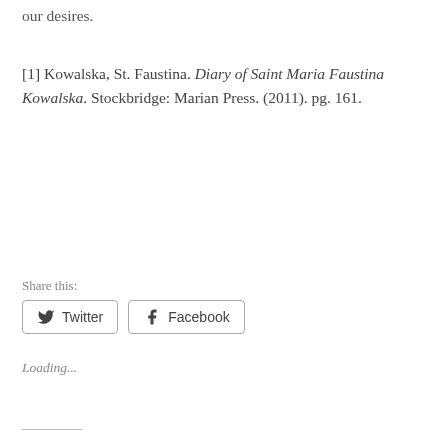our desires.
[1] Kowalska, St. Faustina. Diary of Saint Maria Faustina Kowalska. Stockbridge: Marian Press. (2011). pg. 161.
Share this:
Twitter  Facebook
Loading...